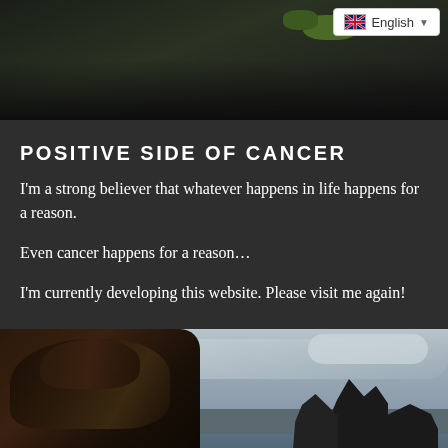[Figure (photo): Top banner photo showing rocky cliffs and green vegetation with dark tones]
POSITIVE SIDE OF CANCER
I'm a strong believer that whatever happens in life happens for a reason.
Even cancer happens for a reason…
I'm currently developing this website. Please visit me again!
[Figure (photo): Bottom photo showing a person with dark curly hair outdoors near rocky coastal cliffs with overcast sky]